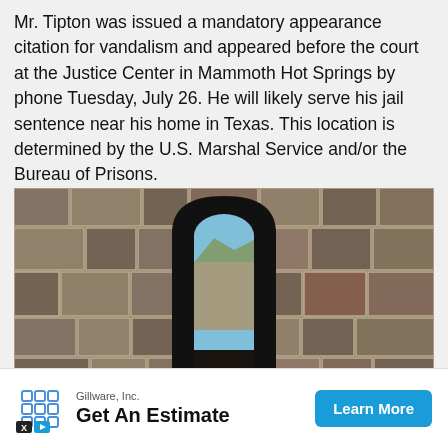Mr. Tipton was issued a mandatory appearance citation for vandalism and appeared before the court at the Justice Center in Mammoth Hot Springs by phone Tuesday, July 26. He will likely serve his jail sentence near his home in Texas. This location is determined by the U.S. Marshal Service and/or the Bureau of Prisons.
[Figure (photo): A stone wall with a narrow arched doorway/window through which a mountain landscape and trees are visible. The stones are large, rough-cut, and varied in color from grey to tan to reddish-brown.]
Gillware, Inc. Get An Estimate Learn More